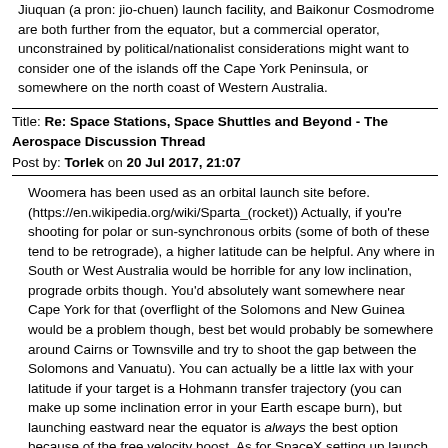Jiuquan (a pron: jio-chuen) launch facility, and Baikonur Cosmodrome are both further from the equator, but a commercial operator, unconstrained by political/nationalist considerations might want to consider one of the islands off the Cape York Peninsula, or somewhere on the north coast of Western Australia.
Title: Re: Space Stations, Space Shuttles and Beyond - The Aerospace Discussion Thread
Post by: Torlek on 20 Jul 2017, 21:07
Woomera has been used as an orbital launch site before. (https://en.wikipedia.org/wiki/Sparta_(rocket)) Actually, if you're shooting for polar or sun-synchronous orbits (some of both of these tend to be retrograde), a higher latitude can be helpful. Any where in South or West Australia would be horrible for any low inclination, prograde orbits though. You'd absolutely want somewhere near Cape York for that (overflight of the Solomons and New Guinea would be a problem though, best bet would probably be somewhere around Cairns or Townsville and try to shoot the gap between the Solomons and Vanuatu). You can actually be a little lax with your latitude if your target is a Hohmann transfer trajectory (you can make up some inclination error in your Earth escape burn), but launching eastward near the equator is always the best option because of the free velocity boost. As for SpaceX setting up launch sites in other countries, that's probably going to be very difficult due to ITAR (https://en.wikipedia.org/wiki/International_Traffic_in_Arms_Regulations)